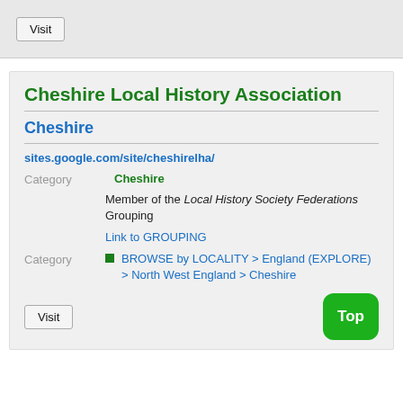Visit
Cheshire Local History Association
Cheshire
sites.google.com/site/cheshirelha/
Category  Cheshire
Member of the Local History Society Federations Grouping
Link to GROUPING
Category
BROWSE by LOCALITY > England (EXPLORE) > North West England > Cheshire
Visit
Top